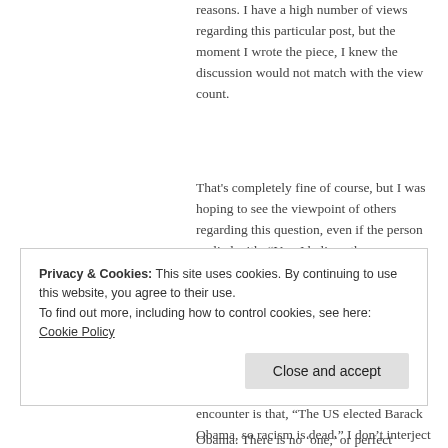reasons. I have a high number of views regarding this particular post, but the moment I wrote the piece, I knew the discussion would not match with the view count.
That's completely fine of course, but I was hoping to see the viewpoint of others regarding this question, even if the person replied with, “Yes. I believe they are tainted.”
Whenever I read about the discussion of race online, one of the first replies I encounter is that, “The US elected Barack Obama, so racism is dead.” I don’t interject
Privacy & Cookies: This site uses cookies. By continuing to use this website, you agree to their use.
To find out more, including how to control cookies, see here: Cookie Policy
Close and accept
Obama. There is no ‘one,’ or perfect